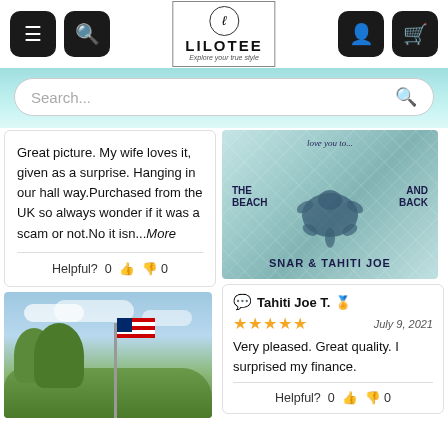LILOTEE - Explore your true style
Search...
Great picture. My wife loves it, given as a surprise. Hanging in our hall way.Purchased from the UK so always wonder if it was a scam or not.No it isn...More
Helpful? 0 0
[Figure (photo): Photo of an American flag on a pole against a sky with trees]
[Figure (photo): Product photo of a quilt/blanket with turtle design, text reads SNAR & TAHITI JOE]
Tahiti Joe T. - Verified
★★★★★  July 9, 2021
Very pleased. Great quality. I surprised my finance.
Helpful? 0 0